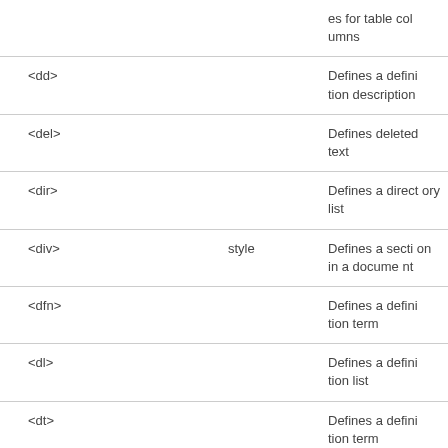| Tag | Attributes | Description |
| --- | --- | --- |
|  |  | es for table columns |
| <dd> |  | Defines a definition description |
| <del> |  | Defines deleted text |
| <dir> |  | Defines a directory list |
| <div> | style | Defines a section in a document |
| <dfn> |  | Defines a definition term |
| <dl> |  | Defines a definition list |
| <dt> |  | Defines a definition term |